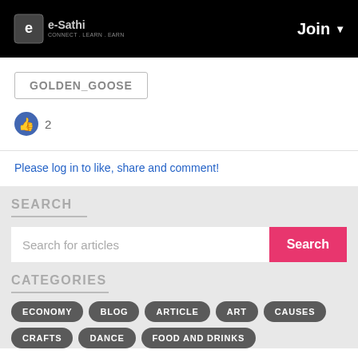e-Sathi | Join
GOLDEN_GOOSE
2
Please log in to like, share and comment!
SEARCH
Search for articles
CATEGORIES
ECONOMY
BLOG
ARTICLE
ART
CAUSES
CRAFTS
DANCE
FOOD AND DRINKS